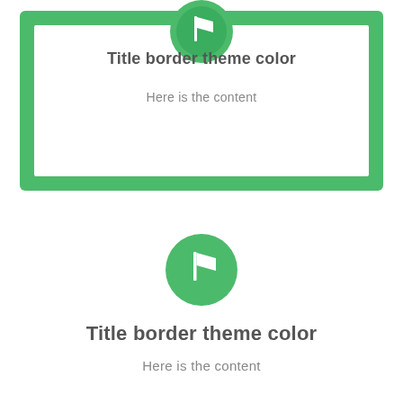[Figure (illustration): Green bordered card with a circular green flag icon at the top center, containing the title 'Title border theme color' and content text 'Here is the content']
Title border theme color
Here is the content
[Figure (illustration): Circular green flag icon centered above plain text card]
Title border theme color
Here is the content